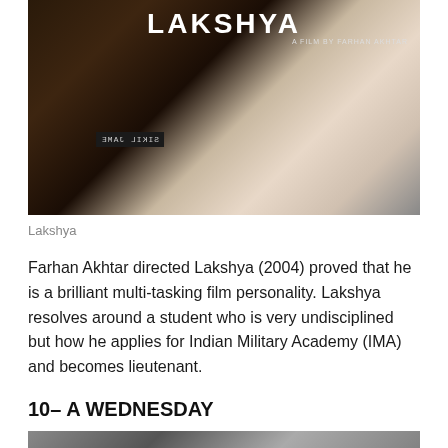[Figure (photo): Movie poster for Lakshya (2004) directed by Farhan Akhtar, showing two faces close together — a woman in white and a man — with the title 'LAKSHYA' and subtitle 'A FILM BY FARHAN AKHTAR' at the top. A name plate reading 'SIKIL JAME' (mirrored) is visible on a military uniform.]
Lakshya
Farhan Akhtar directed Lakshya (2004) proved that he is a brilliant multi-tasking film personality. Lakshya resolves around a student who is very undisciplined but how he applies for Indian Military Academy (IMA) and becomes lieutenant.
10– A WEDNESDAY
[Figure (photo): Bottom portion of a movie image showing two people in what appears to be a black and white or desaturated scene.]